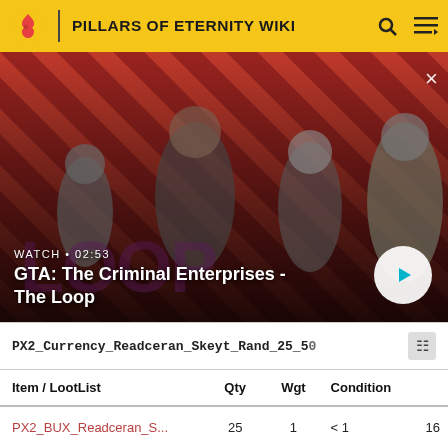PILLARS OF ETERNITY WIKI
[Figure (screenshot): GTA: The Criminal Enterprises - The Loop video thumbnail showing characters on a red striped background with a play button overlay. Text: WATCH • 02:53, GTA: The Criminal Enterprises - The Loop]
| PX2_Currency_Readceran_Skeyt_Rand_25_50 |  |  |  |  |
| --- | --- | --- | --- | --- |
| Item / LootList | Qty | Wgt | Condition |  |
| PX2_BUX_Readceran_S... | 25 | 1 | < 1 | 16 |